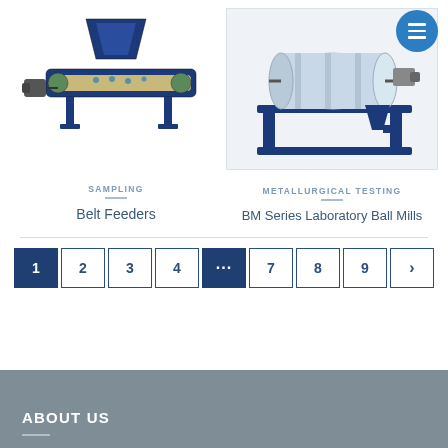[Figure (photo): Blue industrial belt feeder machine with conveyor belt and motor]
[Figure (photo): Blue BM Series Laboratory Ball Mill on a stand with cylindrical drum]
SAMPLING
Belt Feeders
METALLURGICAL TESTING
BM Series Laboratory Ball Mills
1 2 3 4 ... 7 8 9 >
ABOUT US